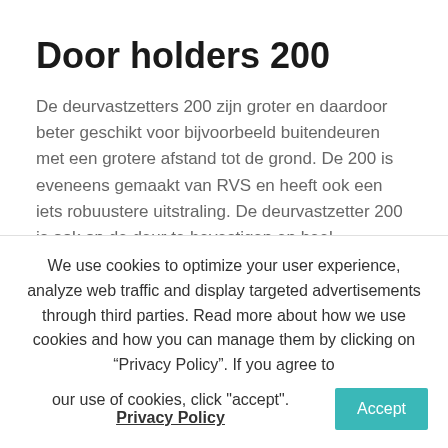Door holders 200
De deurvastzetters 200 zijn groter en daardoor beter geschikt voor bijvoorbeeld buitendeuren met een grotere afstand tot de grond. De 200 is eveneens gemaakt van RVS en heeft ook een iets robuustere uitstraling. De deurvastzetter 200 is ook op de deur te bevestigen en heel eenvoudig met je voet te bedienen en ook weer te ontgrendelen. De 200 deurvastzetter is geschikt
We use cookies to optimize your user experience, analyze web traffic and display targeted advertisements through third parties. Read more about how we use cookies and how you can manage them by clicking on “Privacy Policy”. If you agree to our use of cookies, click "accept". Privacy Policy  Accept